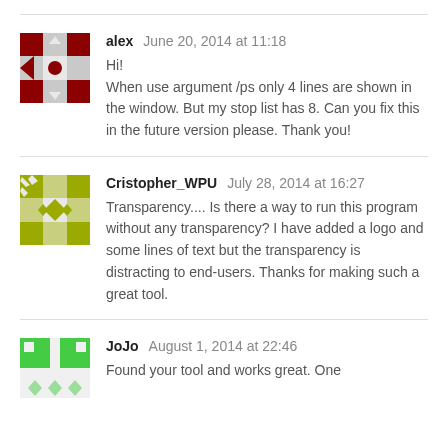[Figure (illustration): Avatar icon for user 'alex' — dark red/maroon geometric patterned square avatar]
alex  June 20, 2014 at 11:18
Hi!
When use argument /ps only 4 lines are shown in the window. But my stop list has 8. Can you fix this in the future version please. Thank you!
[Figure (illustration): Avatar icon for user 'Cristopher_WPU' — olive/yellow-green geometric patterned square avatar]
Cristopher_WPU  July 28, 2014 at 16:27
Transparency.... Is there a way to run this program without any transparency? I have added a logo and some lines of text but the transparency is distracting to end-users. Thanks for making such a great tool.
[Figure (illustration): Avatar icon for user 'JoJo' — bright green geometric patterned square avatar (partially visible)]
JoJo  August 1, 2014 at 22:46
Found your tool and works great. One